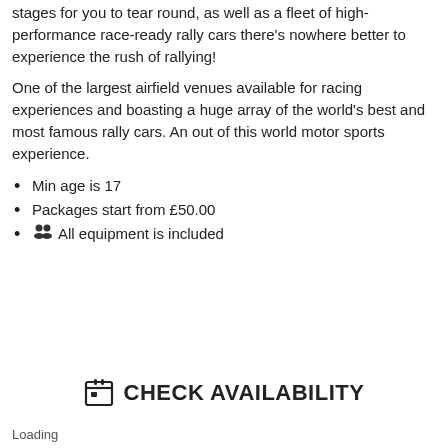stages for you to tear round, as well as a fleet of high-performance race-ready rally cars there's nowhere better to experience the rush of rallying!
One of the largest airfield venues available for racing experiences and boasting a huge array of the world's best and most famous rally cars. An out of this world motor sports experience.
Min age is 17
Packages start from £50.00
All equipment is included
CHECK AVAILABILITY
Loading